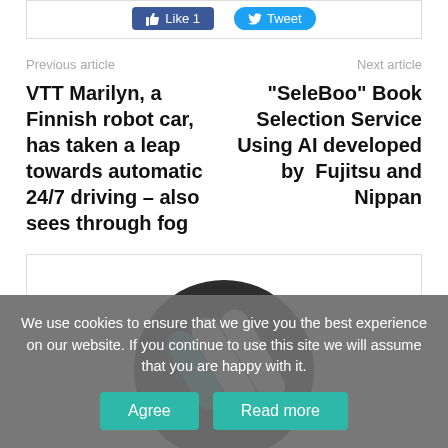[Figure (screenshot): Social share buttons: Facebook Like 1 and Twitter Tweet]
Previous article
Next article
VTT Marilyn, a Finnish robot car, has taken a leap towards automatic 24/7 driving – also sees through fog
“SeleBoo” Book Selection Service Using AI developed by Fujitsu and Nippan
[Figure (logo): Circular dark logo with teal diagonal stripes]
We use cookies to ensure that we give you the best experience on our website. If you continue to use this site we will assume that you are happy with it.